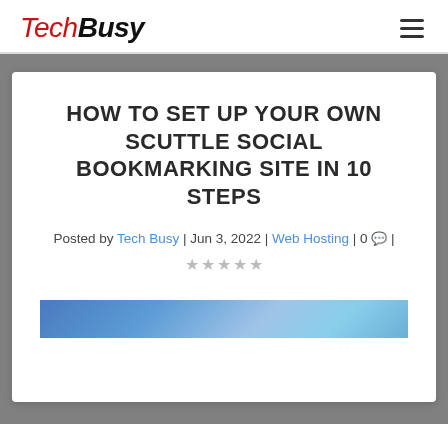TechBusy
HOW TO SET UP YOUR OWN SCUTTLE SOCIAL BOOKMARKING SITE IN 10 STEPS
Posted by Tech Busy | Jun 3, 2022 | Web Hosting | 0 | ★★★★★
[Figure (photo): Partial photo strip at bottom of article card]